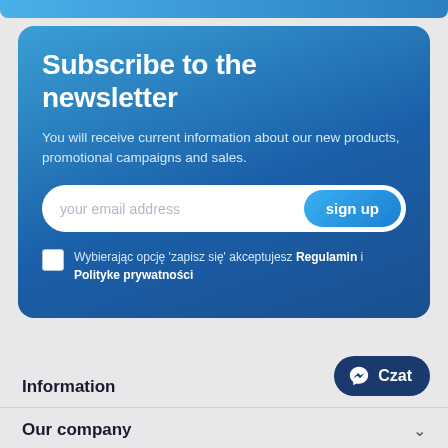Subscribe to the newsletter
You will receive current information about our new products, promotional campaigns and sales.
your email address
sign up
Wybierając opcję 'zapisz się' akceptujesz Regulamin i Polityke prywatności
Information
Czat
Our company